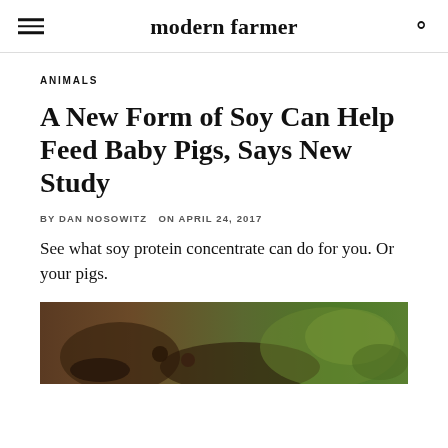modern farmer
ANIMALS
A New Form of Soy Can Help Feed Baby Pigs, Says New Study
BY DAN NOSOWITZ  ON APRIL 24, 2017
See what soy protein concentrate can do for you. Or your pigs.
[Figure (photo): Photograph of baby pigs on the ground with dirt and green foliage visible]